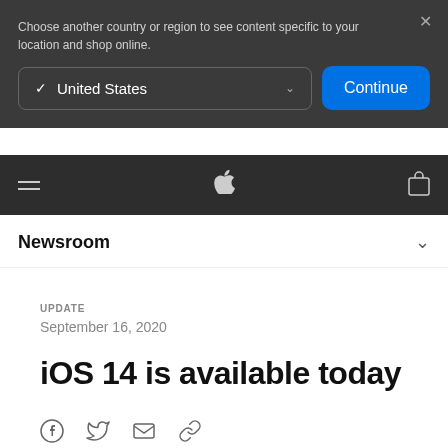Choose another country or region to see content specific to your location and shop online.
United States
Continue
Newsroom
UPDATE
September 16, 2020
iOS 14 is available today
[Figure (other): Social share icons: Facebook, Twitter, Email, Link]